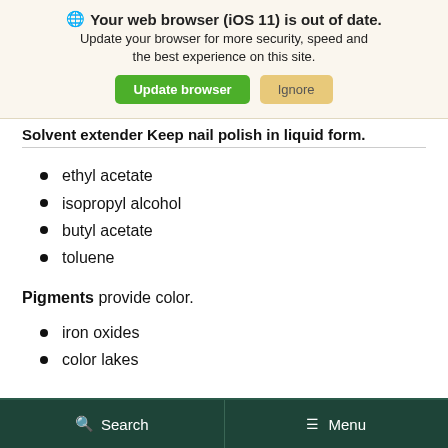[Figure (screenshot): Browser update notification banner with globe icon, bold title 'Your web browser (iOS 11) is out of date.', subtitle text, and two buttons: green 'Update browser' and tan 'Ignore']
Solvent extender Keep nail polish in liquid form.
ethyl acetate
isopropyl alcohol
butyl acetate
toluene
Pigments provide color.
iron oxides
color lakes
Search   Menu